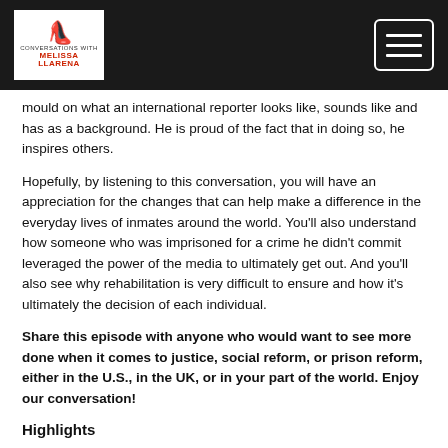Conversations with Melissa Llarena [logo] [hamburger menu]
mould on what an international reporter looks like, sounds like and has as a background. He is proud of the fact that in doing so, he inspires others.
Hopefully, by listening to this conversation, you will have an appreciation for the changes that can help make a difference in the everyday lives of inmates around the world. You'll also understand how someone who was imprisoned for a crime he didn't commit leveraged the power of the media to ultimately get out. And you'll also see why rehabilitation is very difficult to ensure and how it's ultimately the decision of each individual.
Share this episode with anyone who would want to see more done when it comes to justice, social reform, or prison reform, either in the U.S., in the UK, or in your part of the world. Enjoy our conversation!
Highlights
Perspective: People's perceptions were changing when they watched something like Inside the World's Toughest Prisons. In making the documentary, Raphael took on the persona of a